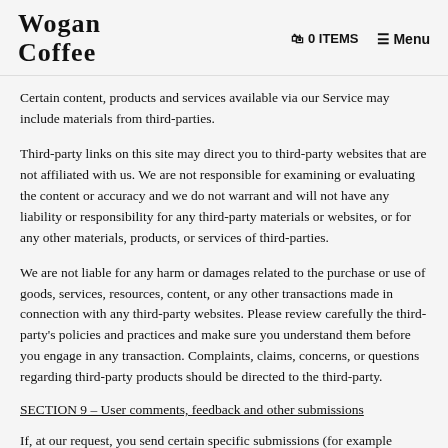Wogan Coffee | 0 ITEMS | Menu
Certain content, products and services available via our Service may include materials from third-parties.
Third-party links on this site may direct you to third-party websites that are not affiliated with us. We are not responsible for examining or evaluating the content or accuracy and we do not warrant and will not have any liability or responsibility for any third-party materials or websites, or for any other materials, products, or services of third-parties.
We are not liable for any harm or damages related to the purchase or use of goods, services, resources, content, or any other transactions made in connection with any third-party websites. Please review carefully the third-party's policies and practices and make sure you understand them before you engage in any transaction. Complaints, claims, concerns, or questions regarding third-party products should be directed to the third-party.
SECTION 9 – User comments, feedback and other submissions
If, at our request, you send certain specific submissions (for example contest entries) or without a request from us you send creative content...